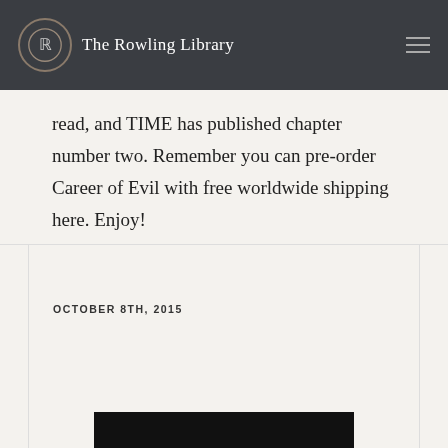The Rowling Library
read, and TIME has published chapter number two. Remember you can pre-order Career of Evil with free worldwide shipping here. Enjoy!
READ MORE
OCTOBER 8TH, 2015